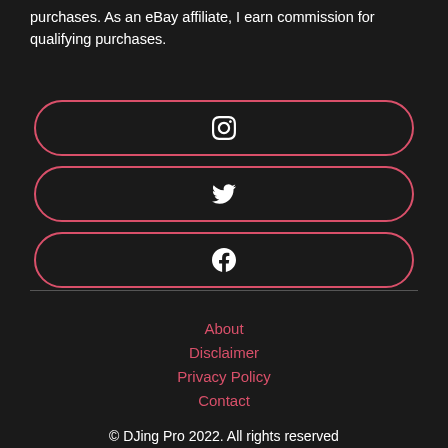purchases. As an eBay affiliate, I earn commission for qualifying purchases.
[Figure (other): Instagram social media button with rounded rectangle border in pink/red]
[Figure (other): Twitter social media button with rounded rectangle border in pink/red]
[Figure (other): Facebook social media button with rounded rectangle border in pink/red]
About
Disclaimer
Privacy Policy
Contact
© DJing Pro 2022. All rights reserved